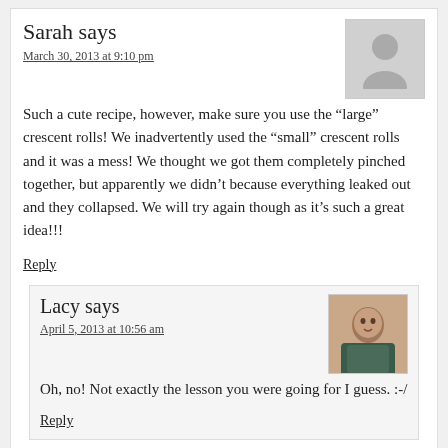Sarah says
March 30, 2013 at 9:10 pm
Such a cute recipe, however, make sure you use the “large” crescent rolls! We inadvertently used the “small” crescent rolls and it was a mess! We thought we got them completely pinched together, but apparently we didn’t because everything leaked out and they collapsed. We will try again though as it’s such a great idea!!!
Reply
Lacy says
April 5, 2013 at 10:56 am
Oh, no! Not exactly the lesson you were going for I guess. :-/
Reply